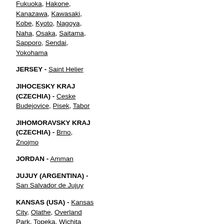Fukuoka, Hakone, Kanazawa, Kawasaki, Kobe, Kyoto, Nagoya, Naha, Osaka, Saitama, Sapporo, Sendai, Yokohama
JERSEY - Saint Helier
JIHOCESKY KRAJ (CZECHIA) - Ceske Budejovice, Pisek, Tabor
JIHOMORAVSKY KRAJ (CZECHIA) - Brno, Znojmo
JORDAN - Amman
JUJUY (ARGENTINA) - San Salvador de Jujuy
KANSAS (USA) - Kansas City, Olathe, Overland Park, Topeka, Wichita
KARLOVARSKY KRAJ (CZECHIA) - Cheb, Karlovy Vary
KAZAKHSTAN - Nur-Sultan, Almaty,